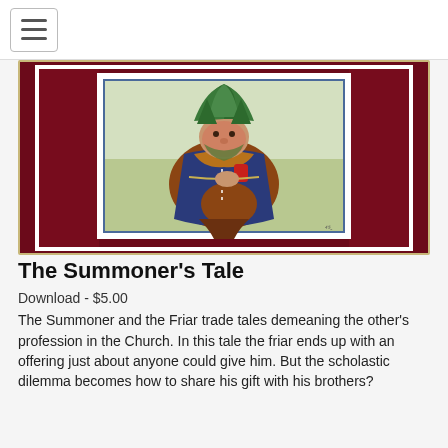☰
[Figure (illustration): Illustration of the Summoner character from Canterbury Tales: a heavyset man with wild green foliage on his head, wearing a dark blue cloak over a brown garment, holding a red item, depicted in a painted medieval style with a dark red decorative border.]
The Summoner's Tale
Download - $5.00
The Summoner and the Friar trade tales demeaning the other's profession in the Church. In this tale the friar ends up with an offering just about anyone could give him. But the scholastic dilemma becomes how to share his gift with his brothers?